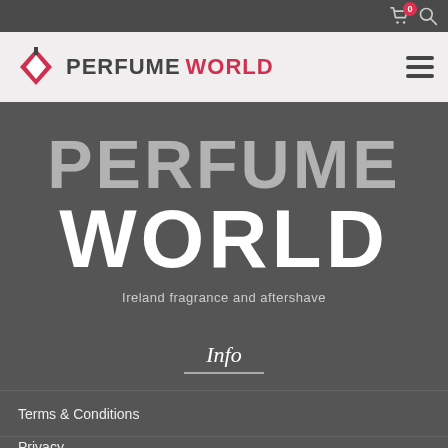Cart: 0 items, Search
[Figure (logo): Perfume World logo with diamond/bow-tie icon and text PERFUME WORLD in dark and red]
PERFUME WORLD
Ireland fragrance and aftershave
Info
Terms & Conditions
Delivery
Returns
Privacy